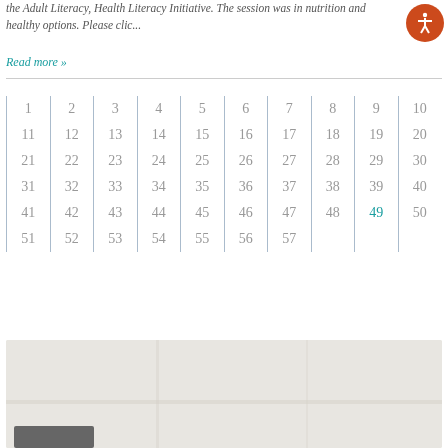the Adult Literacy, Health Literacy Initiative. The session was in nutrition and healthy options. Please clic...
Read more »
| 1 | 2 | 3 | 4 | 5 | 6 | 7 | 8 | 9 | 10 |
| 11 | 12 | 13 | 14 | 15 | 16 | 17 | 18 | 19 | 20 |
| 21 | 22 | 23 | 24 | 25 | 26 | 27 | 28 | 29 | 30 |
| 31 | 32 | 33 | 34 | 35 | 36 | 37 | 38 | 39 | 40 |
| 41 | 42 | 43 | 44 | 45 | 46 | 47 | 48 | 49 | 50 |
| 51 | 52 | 53 | 54 | 55 | 56 | 57 |  |  |  |
[Figure (map): Map area with light beige background, partial road/area markings visible]